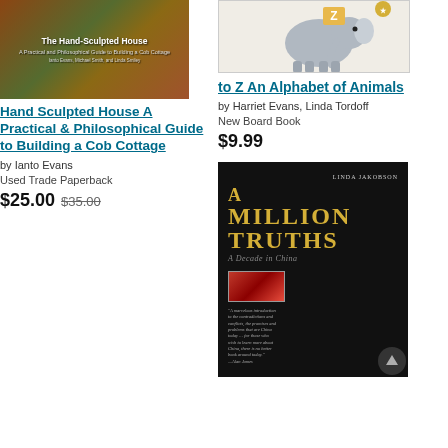[Figure (photo): Book cover of The Hand-Sculpted House showing earthy outdoor scene with plants and natural building]
Hand Sculpted House A Practical & Philosophical Guide to Building a Cob Cottage
by Ianto Evans
Used Trade Paperback
$25.00 $35.00
[Figure (photo): Book cover of to Z An Alphabet of Animals showing cartoon elephant holding a letter]
to Z An Alphabet of Animals
by Harriet Evans, Linda Tordoff
New Board Book
$9.99
[Figure (photo): Book cover of A Million Truths: A Decade in China by Linda Jakobson, dark cover with gold title text and inset image of red figures]